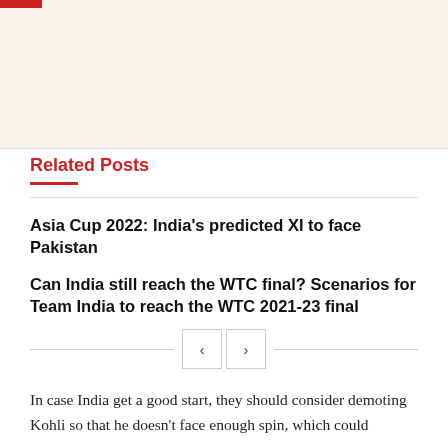[Figure (other): Top banner area with cream/beige background and small red bar at top-left corner]
Related Posts
Asia Cup 2022: India's predicted XI to face Pakistan
Can India still reach the WTC final? Scenarios for Team India to reach the WTC 2021-23 final
In case India get a good start, they should consider demoting Kohli so that he doesn't face enough spin, which could